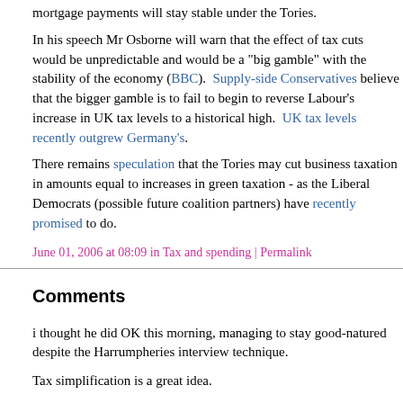mortgage payments will stay stable under the Tories.
In his speech Mr Osborne will warn that the effect of tax cuts would be unpredictable and would be a "big gamble" with the stability of the economy (BBC).  Supply-side Conservatives believe that the bigger gamble is to fail to begin to reverse Labour's increase in UK tax levels to a historical high.  UK tax levels recently outgrew Germany's.
There remains speculation that the Tories may cut business taxation in amounts equal to increases in green taxation - as the Liberal Democrats (possible future coalition partners) have recently promised to do.
June 01, 2006 at 08:09 in Tax and spending | Permalink
Comments
i thought he did OK this morning, managing to stay good-natured despite the Harrumpheries interview technique.
Tax simplification is a great idea.
As to not offering tax cuts now - I doubt any of us wouldn't collapse with joy at the prospect of paying less tax. But I think that it's tactically vital that no specific tax cuts are offered now, because of the way Labour would react. There would